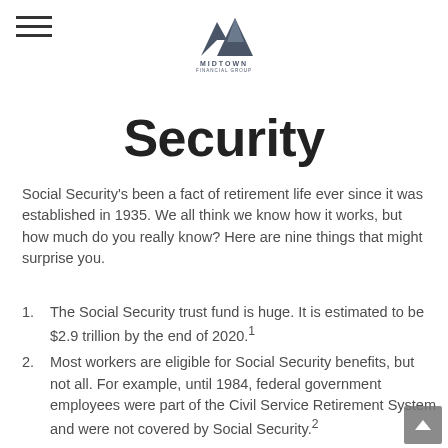[Figure (logo): Midtown Financial Group logo with two mountain peak shapes and the text MIDTOWN FINANCIAL GROUP below]
Security
Social Security’s been a fact of retirement life ever since it was established in 1935. We all think we know how it works, but how much do you really know? Here are nine things that might surprise you.
The Social Security trust fund is huge. It is estimated to be $2.9 trillion by the end of 2020.¹
Most workers are eligible for Social Security benefits, but not all. For example, until 1984, federal government employees were part of the Civil Service Retirement System and were not covered by Social Security.²
You don’t have to work long to be eligible. If you were born in 1929 or later, you need to work for 10 or more years to be eligible for benefits.³
Benefits are based on an individual’s average